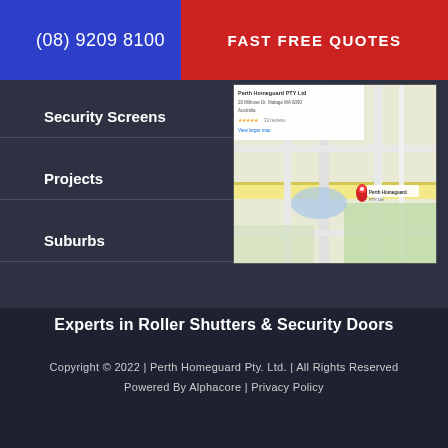(08) 9209 8100
FAST FREE QUOTES
Security Screens
Projects
Suburbs
[Figure (map): Google Maps embed showing Perth Homeguard PTY Ltd location at 20 Millrose Dr, Malaga WA 6090, Australia. Rating 4.7 stars, 33 reviews. Red pin marker visible on street map.]
Experts in Roller Shutters & Security Doors
Copyright © 2022 | Perth Homeguard Pty. Ltd. | All Rights Reserved
Powered By Alphacore | Privacy Policy